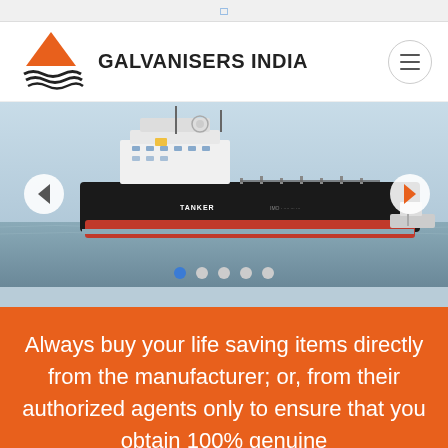□
[Figure (logo): Galvanisers India logo: orange triangle shape above black wave/water lines]
GALVANISERS INDIA
[Figure (photo): Large oil/cargo tanker ship on calm water with blue sky, black hull with red bottom, white superstructure. Navigation arrows on left and right sides. Carousel dots at bottom.]
Always buy your life saving items directly from the manufacturer; or, from their authorized agents only to ensure that you obtain 100% genuine